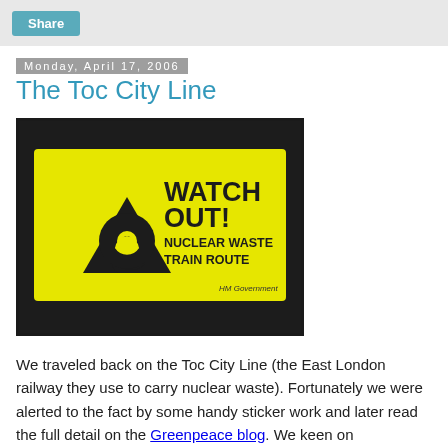Share
Monday, April 17, 2006
The Toc City Line
[Figure (photo): A yellow warning sign reading 'WATCH OUT! NUCLEAR WASTE TRAIN ROUTE' with a radiation symbol, attributed to HM Government, mounted on a dark background.]
We traveled back on the Toc City Line (the East London railway they use to carry nuclear waste). Fortunately we were alerted to the fact by some handy sticker work and later read the full detail on the Greenpeace blog. We keen on